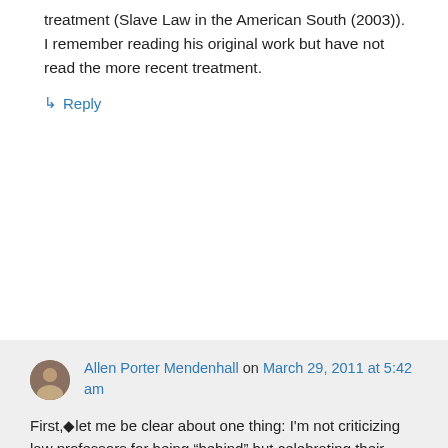treatment (Slave Law in the American South (2003)). I remember reading his original work but have not read the more recent treatment.
↳ Reply
Allen Porter Mendenhall on March 29, 2011 at 5:42 am
First,◆let me be clear about one thing: I'm not criticizing law professors for being "behind" but celebrating their recent◆turn to slavery as an area of academic◆interest.◆ I will say, though, that it is interesting (if that's the right word) that legal scholarship has arrived at this